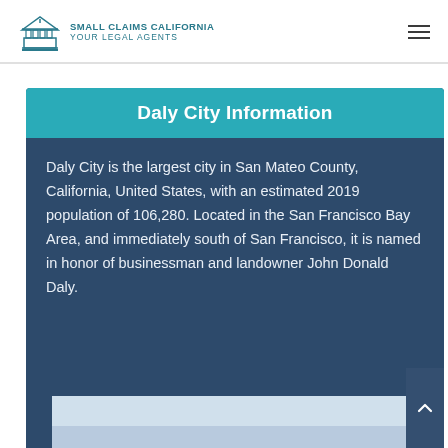SMALL CLAIMS CALIFORNIA YOUR LEGAL AGENTS
Daly City Information
Daly City is the largest city in San Mateo County, California, United States, with an estimated 2019 population of 106,280. Located in the San Francisco Bay Area, and immediately south of San Francisco, it is named in honor of businessman and landowner John Donald Daly.
[Figure (photo): Partial view of Daly City photograph at the bottom of the card]